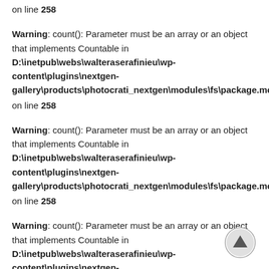on line 258
Warning: count(): Parameter must be an array or an object that implements Countable in D:\inetpub\webs\walteraserafinieu\wp-content\plugins\nextgen-gallery\products\photocrati_nextgen\modules\fs\package.module.fs.php on line 258
Warning: count(): Parameter must be an array or an object that implements Countable in D:\inetpub\webs\walteraserafinieu\wp-content\plugins\nextgen-gallery\products\photocrati_nextgen\modules\fs\package.module.fs.php on line 258
Warning: count(): Parameter must be an array or an object that implements Countable in D:\inetpub\webs\walteraserafinieu\wp-content\plugins\nextgen-gallery\products\photocrati_nextgen\modules\fs\package.module.fs.php on line 258